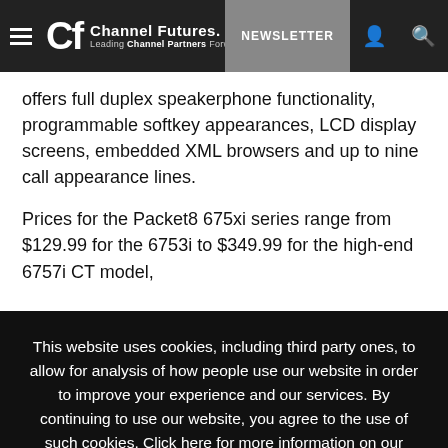Channel Futures. Leading Channel Partners Forward | NEWSLETTER
offers full duplex speakerphone functionality, programmable softkey appearances, LCD display screens, embedded XML browsers and up to nine call appearance lines.
Prices for the Packet8 675xi series range from $129.99 for the 6753i to $349.99 for the high-end 6757i CT model,
This website uses cookies, including third party ones, to allow for analysis of how people use our website in order to improve your experience and our services. By continuing to use our website, you agree to the use of such cookies. Click here for more information on our Cookie Policy and Privacy Policy.